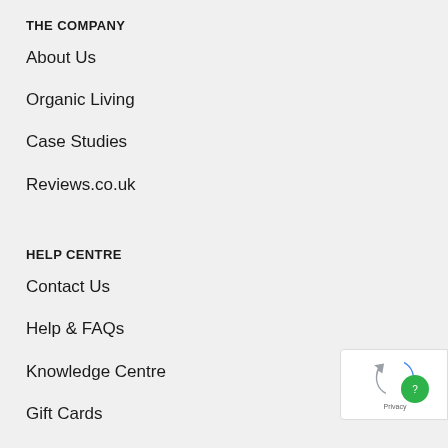THE COMPANY
About Us
Organic Living
Case Studies
Reviews.co.uk
HELP CENTRE
Contact Us
Help & FAQs
Knowledge Centre
Gift Cards
Delivery & Returns
On-site Collections